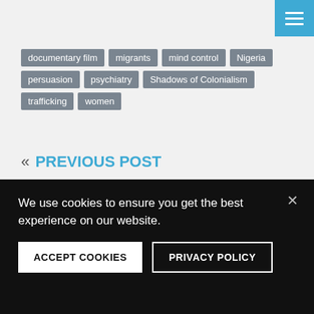[Figure (other): Blue hamburger menu button with three white horizontal lines in top-right corner]
documentary film | migrants | mind control | Nigeria persuasion | psychiatry | Shadows of Colonialism trafficking | women
« PREVIOUS POST
THEMES
We use cookies to ensure you get the best experience on our website.
ACCEPT COOKIES   PRIVACY POLICY